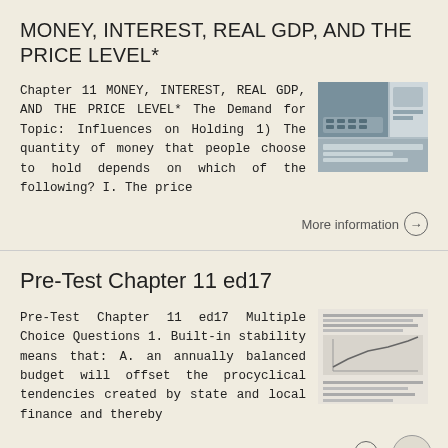MONEY, INTEREST, REAL GDP, AND THE PRICE LEVEL*
Chapter 11 MONEY, INTEREST, REAL GDP, AND THE PRICE LEVEL* The Demand for Topic: Influences on Holding 1) The quantity of money that people choose to hold depends on which of the following? I. The price
More information →
Pre-Test Chapter 11 ed17
Pre-Test Chapter 11 ed17 Multiple Choice Questions 1. Built-in stability means that: A. an annually balanced budget will offset the procyclical tendencies created by state and local finance and thereby
More information →